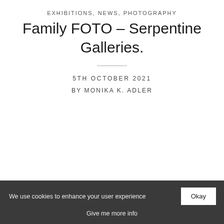EXHIBITIONS, NEWS, PHOTOGRAPHY
Family FOTO – Serpentine Galleries.
5TH OCTOBER 2021
BY MONIKA K. ADLER
We use cookies to enhance your user experience  Okay  Give me more info